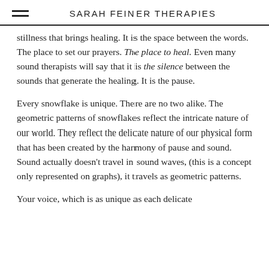SARAH FEINER THERAPIES
stillness that brings healing. It is the space between the words. The place to set our prayers. The place to heal. Even many sound therapists will say that it is the silence between the sounds that generate the healing. It is the pause.
Every snowflake is unique. There are no two alike. The geometric patterns of snowflakes reflect the intricate nature of our world. They reflect the delicate nature of our physical form that has been created by the harmony of pause and sound. Sound actually doesn't travel in sound waves, (this is a concept only represented on graphs), it travels as geometric patterns.
Your voice, which is as unique as each delicate